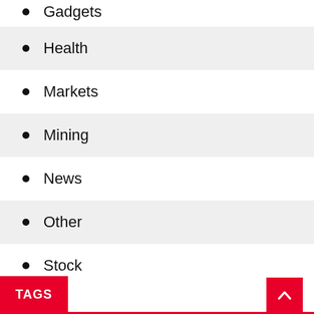Gadgets
Health
Markets
Mining
News
Other
Stock
Trading
TAGS